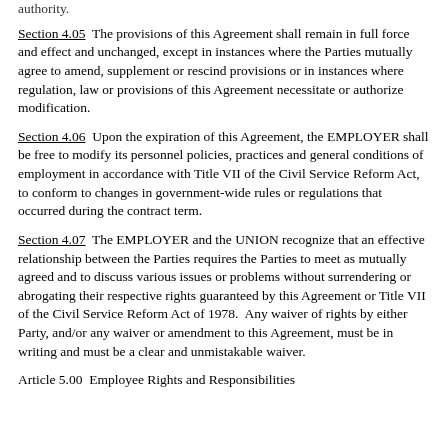authority.
Section 4.05  The provisions of this Agreement shall remain in full force and effect and unchanged, except in instances where the Parties mutually agree to amend, supplement or rescind provisions or in instances where regulation, law or provisions of this Agreement necessitate or authorize modification.
Section 4.06  Upon the expiration of this Agreement, the EMPLOYER shall be free to modify its personnel policies, practices and general conditions of employment in accordance with Title VII of the Civil Service Reform Act, to conform to changes in government-wide rules or regulations that occurred during the contract term.
Section 4.07  The EMPLOYER and the UNION recognize that an effective relationship between the Parties requires the Parties to meet as mutually agreed and to discuss various issues or problems without surrendering or abrogating their respective rights guaranteed by this Agreement or Title VII of the Civil Service Reform Act of 1978.  Any waiver of rights by either Party, and/or any waiver or amendment to this Agreement, must be in writing and must be a clear and unmistakable waiver.
Article 5.00  Employee Rights and Responsibilities